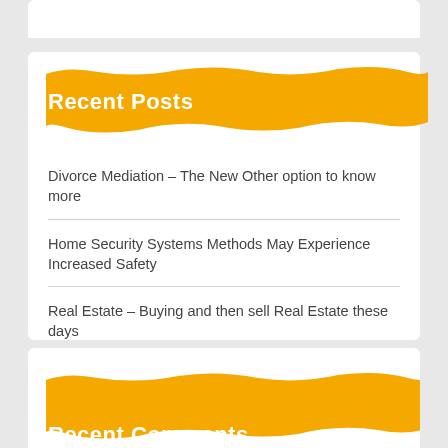Recent Posts
Divorce Mediation – The New Other option to know more
Home Security Systems Methods May Experience Increased Safety
Real Estate – Buying and then sell Real Estate these days
Know How Clinical Cannabis Ought to Be Generally Acknowledged
Reasons to Choose Magento as the ECommerce Platform for Your Online Business
Recent Comments